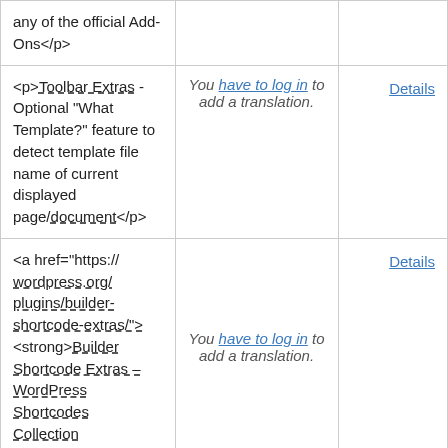| any of the official Add-Ons</p> |  |  |
| <p>Toolbar Extras - Optional "What Template?" feature to detect template file name of current displayed page/document</p> | You have to log in to add a translation. | Details |
| <a href="https://wordpress.org/plugins/builder-shortcode-extras/"><strong>Builder Shortcode Extras – WordPress Shortcodes Collection</strong>... | You have to log in to add a translation. | Details |